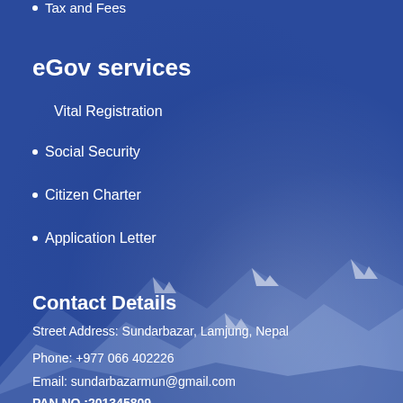Tax and Fees
eGov services
Vital Registration
Social Security
Citizen Charter
Application Letter
Contact Details
Street Address: Sundarbazar, Lamjung, Nepal
Phone: +977 066 402226
Email: sundarbazarmun@gmail.com
PAN NO.:201345809